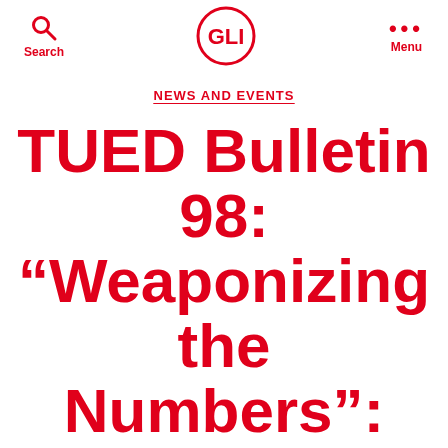Search | GLI | Menu
NEWS AND EVENTS
TUED Bulletin 98: “Weaponizing the Numbers”: The Hidden